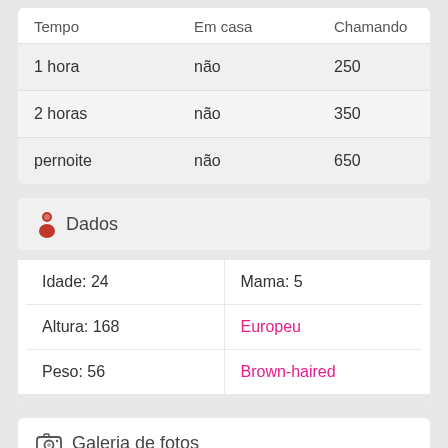| Tempo | Em casa | Chamando |
| --- | --- | --- |
| 1 hora | não | 250 |
| 2 horas | não | 350 |
| pernoite | não | 650 |
Dados
|  |  |
| --- | --- |
| Idade: 24 | Mama: 5 |
| Altura: 168 | Europeu |
| Peso: 56 | Brown-haired |
Galeria de fotos
[Figure (photo): Partial view of a photo gallery image, cropped at bottom of page]